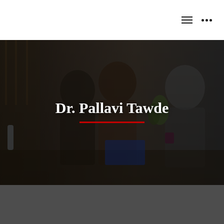[Figure (photo): Background photo of three people in a meeting or discussion setting, with a dark overlay. Two women and one man visible, appearing to be in a professional or educational setting.]
Dr. Pallavi Tawde